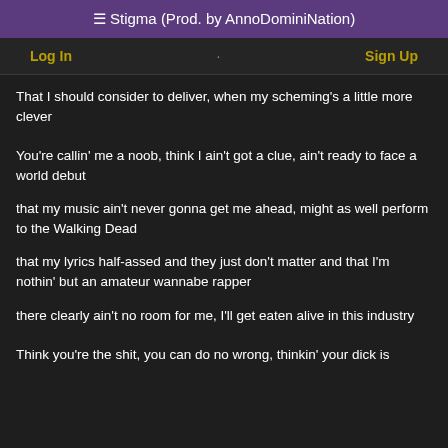≡ Stigma (Prod. by AnnoDominiNation)
Log In · Sign Up
That I should consider to deliver, when my scheming's a little more clever
You're callin' me a noob, think I ain't got a clue, ain't ready to face a world debut
that my music ain't never gonna get me ahead, might as well perform to the Walking Dead
that my lyrics half-assed and they just don't matter and that I'm nothin' but an amateur wannabe rapper
there clearly ain't no room for me, I'll get eaten alive in this industry
Think you're the shit, you can do no wrong, thinkin' your dick is